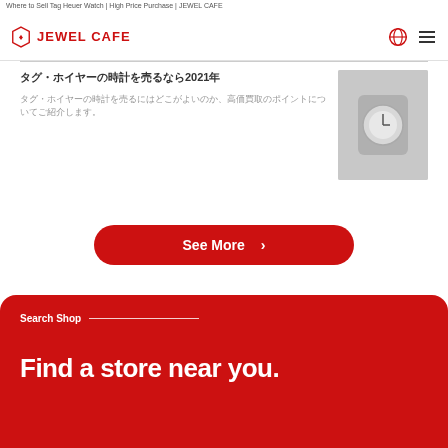Where to Sell Tag Heuer Watch | High Price Purchase | JEWEL CAFE
[Figure (logo): JEWEL CAFE logo with hexagonal icon and red text]
タグ・ホイヤーの時計を売るなら2021年
タグ・ホイヤーの時計を売るにはどこがよいのか、高価買取のポイントについてご紹介します。
[Figure (photo): Close-up photo of a Tag Heuer watch on white surface]
See More
Search Shop
Find a store near you.